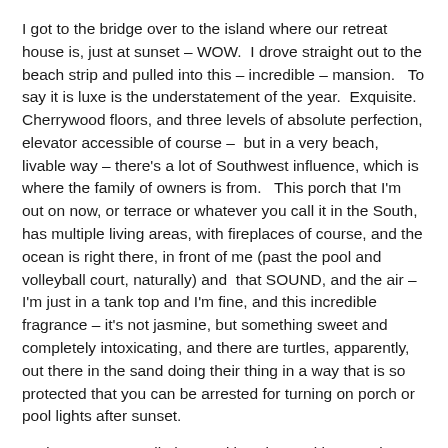I got to the bridge over to the island where our retreat house is, just at sunset – WOW.  I drove straight out to the beach strip and pulled into this – incredible – mansion.   To say it is luxe is the understatement of the year.  Exquisite.  Cherrywood floors, and three levels of absolute perfection, elevator accessible of course –  but in a very beach, livable way – there's a lot of Southwest influence, which is where the family of owners is from.   This porch that I'm out on now, or terrace or whatever you call it in the South, has multiple living areas, with fireplaces of course, and the ocean is right there, in front of me (past the pool and volleyball court, naturally) and  that SOUND, and the air –  I'm just in a tank top and I'm fine, and this incredible fragrance – it's not jasmine, but something sweet and completely intoxicating, and there are turtles, apparently, out there in the sand doing their thing in a way that is so protected that you can be arrested for turning on porch or pool lights after sunset.
And my room.   Well, the word is suite.   With sweeping ocean views, private entrance, and hi-tech beyond the att...